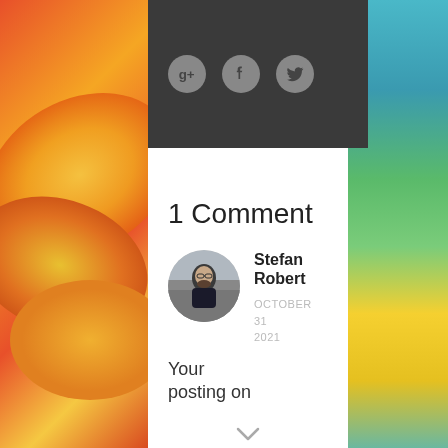[Figure (illustration): Dark header bar with three circular social media icons: Google+, Facebook, Twitter]
1 Comment
[Figure (photo): Circular avatar photo of Stefan Robert, a man with glasses and beard on a city street]
Stefan Robert
OCTOBER 31 2021
Your posting on